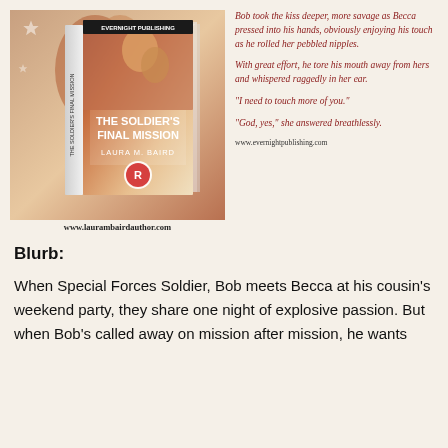[Figure (illustration): Book cover for 'The Soldier's Final Mission' by Laura M. Baird, published by Evernight Publishing, showing a romantic couple, with an American flag background and a publisher logo.]
www.laurambairdauthor.com
Bob took the kiss deeper, more savage as Becca pressed into his hands, obviously enjoying his touch as he rolled her pebbled nipples.

With great effort, he tore his mouth away from hers and whispered raggedly in her ear.

"I need to touch more of you."

"God, yes," she answered breathlessly.
www.evernightpublishing.com
Blurb:
When Special Forces Soldier, Bob meets Becca at his cousin's weekend party, they share one night of explosive passion. But when Bob's called away on mission after mission, he wants